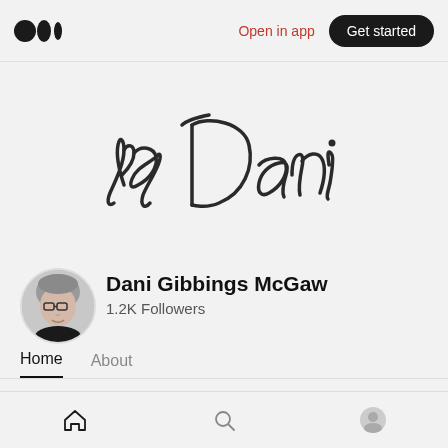Open in app  Get started
[Figure (illustration): Handwritten cursive text reading 'by Dani' in dark ink on light background]
[Figure (photo): Circular profile photo of Dani Gibbings McGaw, a woman with short gray hair and glasses]
Dani Gibbings McGaw
1.2K Followers
Home  About
Pinned ★
Home  Search  Profile